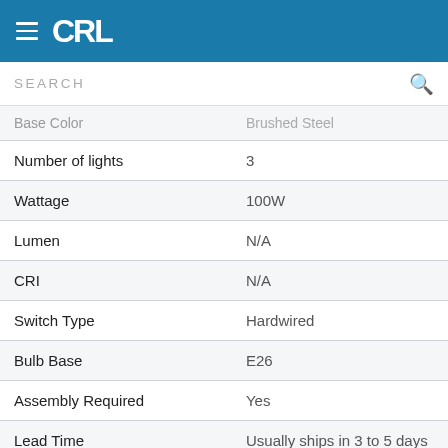CRL
SEARCH
| Property | Value |
| --- | --- |
| Base Color | Brushed Steel |
| Number of lights | 3 |
| Wattage | 100W |
| Lumen | N/A |
| CRI | N/A |
| Switch Type | Hardwired |
| Bulb Base | E26 |
| Assembly Required | Yes |
| Lead Time | Usually ships in 3 to 5 days |
| Warranty | One year |